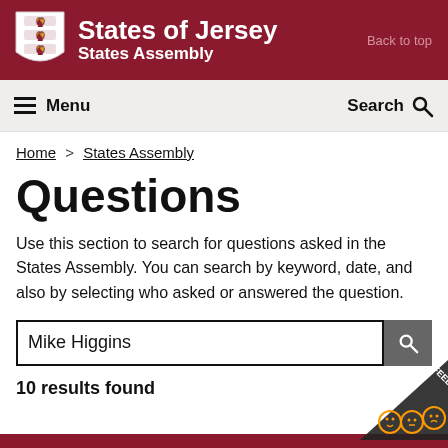States of Jersey States Assembly
Back to top
≡ Menu   Search 🔍
Home > States Assembly
Questions
Use this section to search for questions asked in the States Assembly. You can search by keyword, date, and also by selecting who asked or answered the question.
Mike Higgins
10 results found